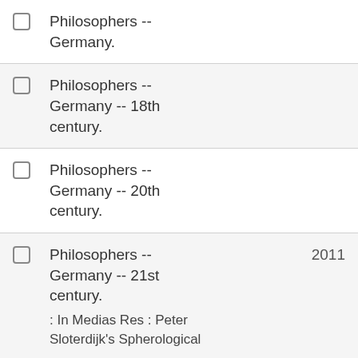Philosophers -- Germany.
Philosophers -- Germany -- 18th century.
Philosophers -- Germany -- 20th century.
Philosophers -- Germany -- 21st century. : In Medias Res : Peter Sloterdijk's Spherological 2011